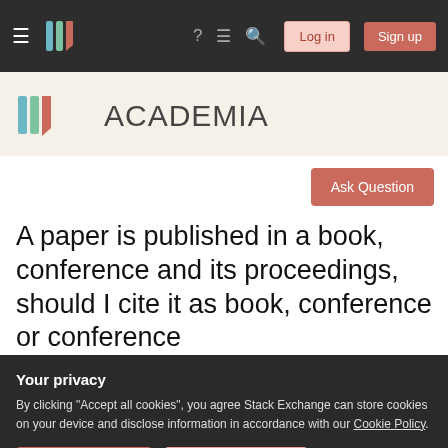Academia Stack Exchange navigation bar with Log in and Sign up buttons
[Figure (logo): Academia Stack Exchange logo with stylized book/lines icon and ACADEMIA wordmark]
Ask Question
A paper is published in a book, conference and its proceedings, should I cite it as book, conference or conference proceedings?
Your privacy
By clicking "Accept all cookies", you agree Stack Exchange can store cookies on your device and disclose information in accordance with our Cookie Policy.
Accept all cookies   Customize settings
using the best one from importing into BibT and achieving some from citation...